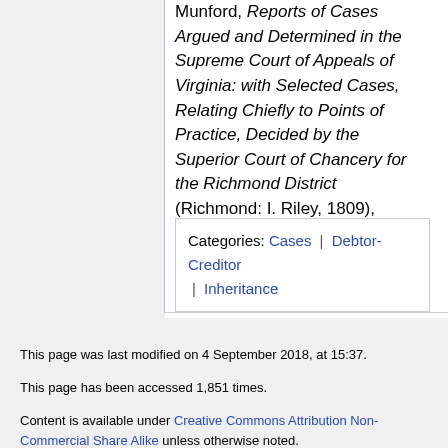Munford, Reports of Cases Argued and Determined in the Supreme Court of Appeals of Virginia: with Selected Cases, Relating Chiefly to Points of Practice, Decided by the Superior Court of Chancery for the Richmond District (Richmond: I. Riley, 1809), 2:124.
Categories: Cases | Debtor-Creditor | Inheritance
This page was last modified on 4 September 2018, at 15:37.
This page has been accessed 1,851 times.
Content is available under Creative Commons Attribution Non-Commercial Share Alike unless otherwise noted.
Privacy policy